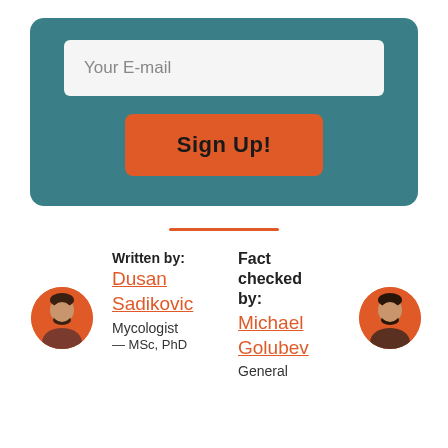[Figure (infographic): Email signup form with teal background, white email input field labeled 'Your E-mail', and an orange 'Sign Up!' button]
[Figure (illustration): Orange horizontal divider line centered on page]
Written by:
Fact checked by:
Dusan Sadikovic
Mycologist
— MSc, PhD
Michael Golubev
General
[Figure (photo): Circular avatar of Dusan Sadikovic, male with dark beard]
[Figure (photo): Circular avatar of Michael Golubev, male with dark beard]